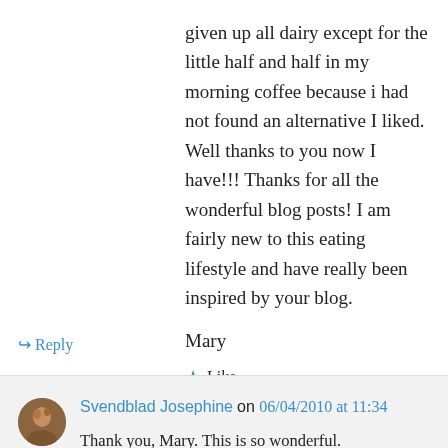given up all dairy except for the little half and half in my morning coffee because i had not found an alternative I liked. Well thanks to you now I have!!! Thanks for all the wonderful blog posts! I am fairly new to this eating lifestyle and have really been inspired by your blog.
Mary
★ Like
↳ Reply
Svendblad Josephine on 06/04/2010 at 11:34
Thank you, Mary. This is so wonderful. Congratulations on your decision to eat